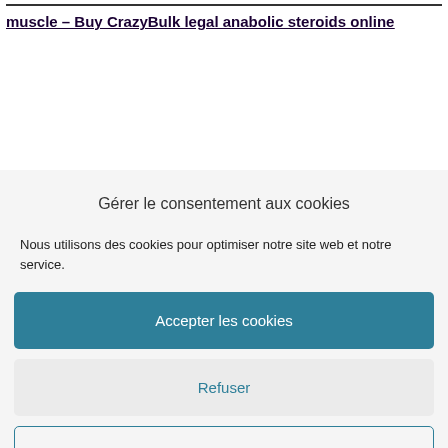muscle – Buy CrazyBulk legal anabolic steroids online
Gérer le consentement aux cookies
Nous utilisons des cookies pour optimiser notre site web et notre service.
Accepter les cookies
Refuser
Voir les préférences